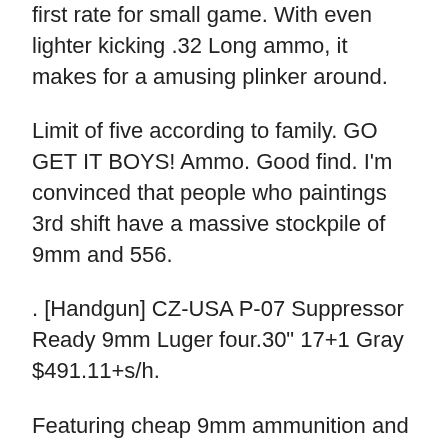first rate for small game. With even lighter kicking .32 Long ammo, it makes for a amusing plinker around.
Limit of five according to family. GO GET IT BOYS! Ammo. Good find. I'm convinced that people who paintings 3rd shift have a massive stockpile of 9mm and 556.
. [Handgun] CZ-USA P-07 Suppressor Ready 9mm Luger four.30″ 17+1 Gray $491.11+s/h.
Featuring cheap 9mm ammunition and bulk 9mm ammo. All pinnacle manufacturers like Federal, Winchester We want to make certain that making a return is as smooth and problem-loose as possible!